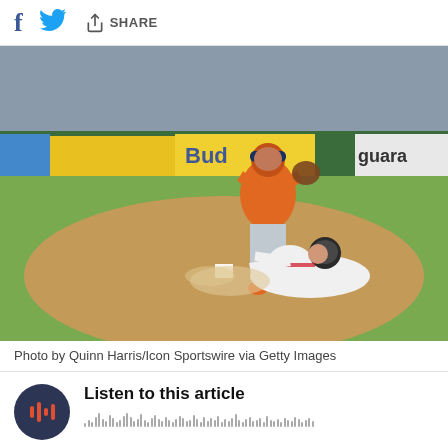Share
[Figure (photo): Houston Astros player in orange uniform leaping over a White Sox player sliding into second base during a baseball game. Ballpark outfield wall with advertisements visible in background.]
Photo by Quinn Harris/Icon Sportswire via Getty Images
Listen to this article